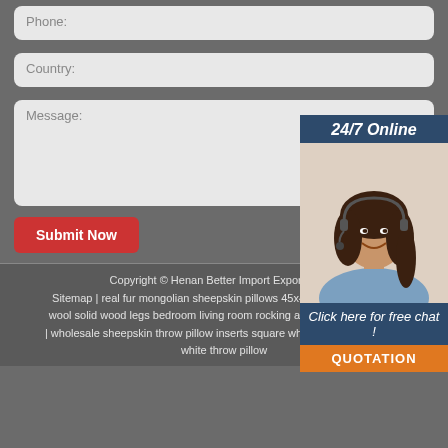Phone:
Country:
Message:
Submit Now
[Figure (photo): Chat widget showing '24/7 Online' text, a woman with a headset smiling, 'Click here for free chat!' text, and an orange QUOTATION button]
Copyright © Henan Better Import Export Trading | Sitemap | real fur mongolian sheepskin pillows 45x45 | wholesale lamb wool solid wood legs bedroom living room rocking accent chair armchair | wholesale sheepskin throw pillow inserts square wholesale throw pillows white throw pillow